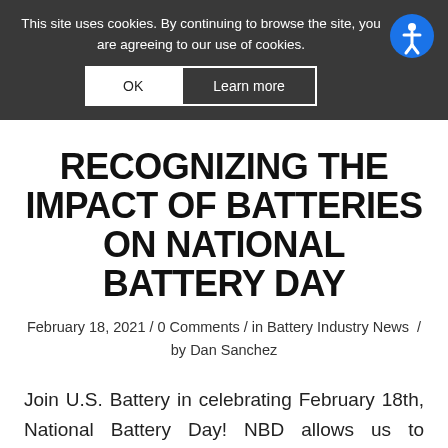This site uses cookies. By continuing to browse the site, you are agreeing to our use of cookies.
RECOGNIZING THE IMPACT OF BATTERIES ON NATIONAL BATTERY DAY
February 18, 2021 / 0 Comments / in Battery Industry News / by Dan Sanchez
Join U.S. Battery in celebrating February 18th, National Battery Day! NBD allows us to celebrate the impact batteries have in our daily lives and reminds consumers of the recycling efforts essential to allow batteries as a vital